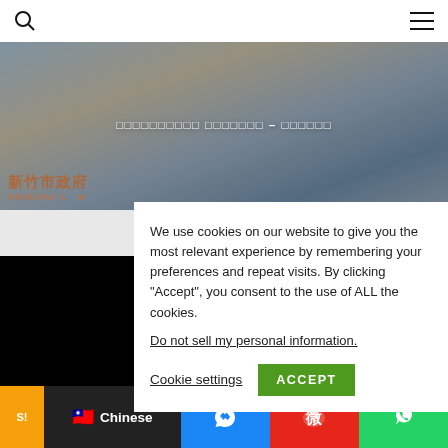Search | Menu
[Figure (photo): News website hero image showing a masked official being interviewed by reporters with microphones, in front of a Hsinchu City Government backdrop. White Chinese characters visible as overlay title text.]
□□□□□□□□□□ □□□□□□□ – □□□□□□
We use cookies on our website to give you the most relevant experience by remembering your preferences and repeat visits. By clicking “Accept”, you consent to the use of ALL the cookies.
Do not sell my personal information.
Cookie settings   ACCEPT
Chinese | Messenger | Weibo | WhatsApp